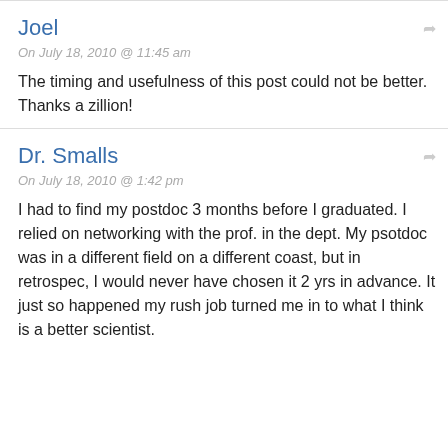Joel
On July 18, 2010 @ 11:45 am
The timing and usefulness of this post could not be better. Thanks a zillion!
Dr. Smalls
On July 18, 2010 @ 1:42 pm
I had to find my postdoc 3 months before I graduated. I relied on networking with the prof. in the dept. My psotdoc was in a different field on a different coast, but in retrospec, I would never have chosen it 2 yrs in advance. It just so happened my rush job turned me in to what I think is a better scientist.